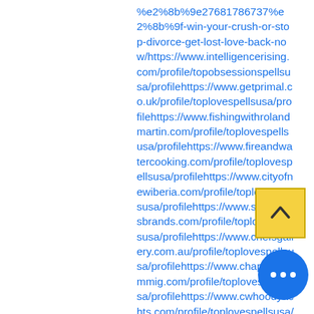%e2%8b%9e27681786737%e2%8b%9f-win-your-crush-or-stop-divorce-get-lost-love-back-now/https://www.intelligencerising.com/profile/topobsessionspellsusa/profilehttps://www.getprimal.co.uk/profile/toplovespellsusa/profilehttps://www.fishingwithrolandmartin.com/profile/toplovespellsusa/profilehttps://www.fireandwatercooking.com/profile/toplovespellsusa/profilehttps://www.cityofnewiberia.com/profile/toplovespellsusa/profilehttps://www.shebuildsbrands.com/profile/toplovespellsusa/profilehttps://www.chefsgallery.com.au/profile/toplovespellsusa/profilehttps://www.chapman-immig.com/profile/toplovespellsusa/profilehttps://www.cwhoodyachts.com/profile/toplovespellsusa/profilehttps://www.npcowgirls/ofile/toplovespells/profilehttps://www.haloairambulance.com/profile/toplovespells/profilehttps://www.nenanaakiceclassic.com/profile/bestpsychic/profilehttps://www.sanibell.h/profile/topbestpsychicsarmy/profilehttps://www.
[Figure (other): Yellow square scroll-to-top button with upward chevron arrow]
[Figure (other): Blue circular chat/more options button with three dots]